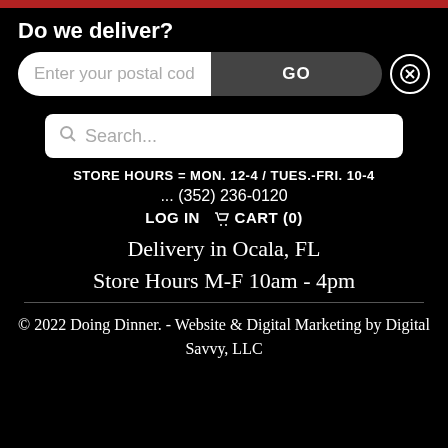Do we deliver?
Enter your postal cod  GO
Search...
STORE HOURS = MON. 12-4 / TUES.-FRI. 10-4
... (352) 236-0120
LOG IN  CART (0)
Delivery in Ocala, FL
Store Hours M-F 10am - 4pm
© 2022 Doing Dinner. - Website & Digital Marketing by Digital Savvy, LLC